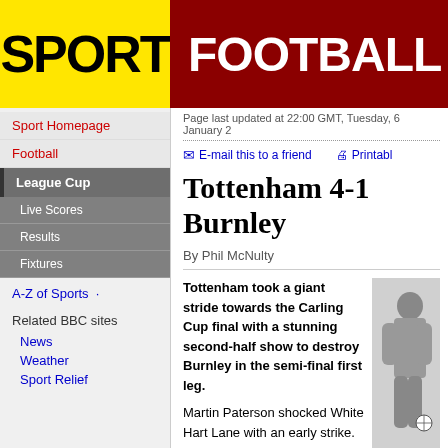SPORT | FOOTBALL
Sport Homepage
Football
League Cup
Live Scores
Results
Fixtures
A-Z of Sports
Related BBC sites
News
Weather
Sport Relief
Page last updated at 22:00 GMT, Tuesday, 6 January 2
Tottenham 4-1 Burnley
By Phil McNulty
Tottenham took a giant stride towards the Carling Cup final with a stunning second-half show to destroy Burnley in the semi-final first leg.
Martin Paterson shocked White Hart Lane with an early strike.
Michael Dawson headed Spurs level two minutes after the break and substitute Jamie O'Hara volleyed in a second five minutes later as Burnley crumbled.
[Figure (photo): Jamie O'Hara in action against Burnley]
Jamie again
Roman Pavlyuchenko's crisp effort and Micha crucial advantage for the second leg.